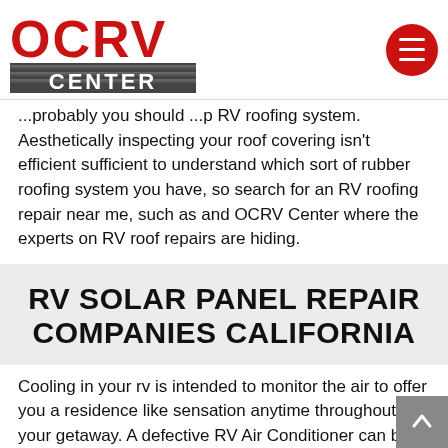OCRV Center logo and navigation menu
...probably you should ...p RV roofing system. Aesthetically inspecting your roof covering isn't efficient sufficient to understand which sort of rubber roofing system you have, so search for an RV roofing repair near me, such as and OCRV Center where the experts on RV roof repairs are hiding.
RV SOLAR PANEL REPAIR COMPANIES CALIFORNIA
Cooling in your rv is intended to monitor the air to offer you a residence like sensation anytime throughout your getaway. A defective RV Air Conditioner can be really upsetting, do not worry OCRV Is where you can get this fixed. We recommend that you take some simple procedures to aid stop Cooling troubles from occurring in the future. Such as check your Air Conditioner roofing